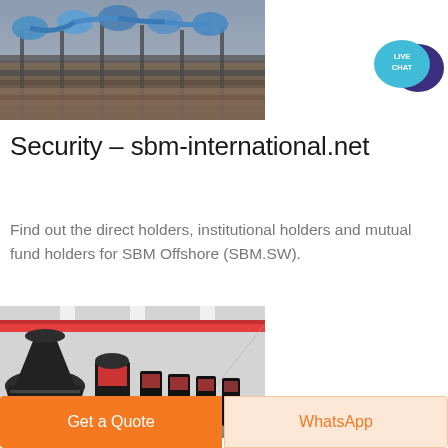[Figure (photo): Industrial conveyor/mining equipment with blue machinery and pipes in an outdoor industrial setting]
[Figure (illustration): Live Chat speech bubble icon - teal/cyan bubble with dark purple speech bubble, text reads LIVE CHAT]
Security – sbm-international.net
Find out the direct holders, institutional holders and mutual fund holders for SBM Offshore (SBM.SW).
[Figure (photo): Industrial manufacturing facility interior showing large black and red cone crushers/grinding machines in a warehouse with red overhead crane]
Get a Quote
WhatsApp